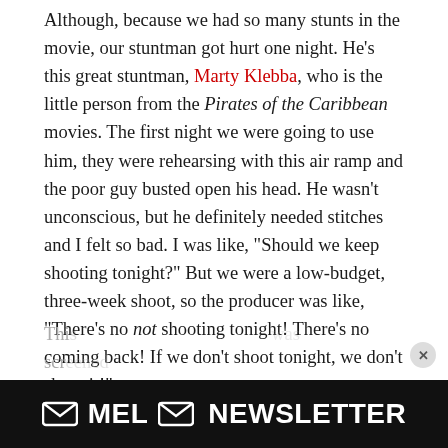Although, because we had so many stunts in the movie, our stuntman got hurt one night. He's this great stuntman, Marty Klebba, who is the little person from the Pirates of the Caribbean movies. The first night we were going to use him, they were rehearsing with this air ramp and the poor guy busted open his head. He wasn't unconscious, but he definitely needed stitches and I felt so bad. I was like, "Should we keep shooting tonight?" But we were a low-budget, three-week shoot, so the producer was like, "There's no not shooting tonight! There's no coming back! If we don't shoot tonight, we don't shoot it!"
This... [partially visible, faded]
[Figure (other): MEL Newsletter advertisement banner at the bottom of the page with an envelope icon]